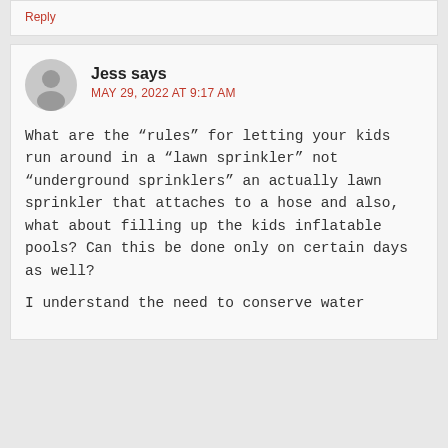Reply
Jess says
MAY 29, 2022 AT 9:17 AM
What are the “rules” for letting your kids run around in a “lawn sprinkler” not “underground sprinklers” an actually lawn sprinkler that attaches to a hose and also, what about filling up the kids inflatable pools? Can this be done only on certain days as well?

I understand the need to conserve water